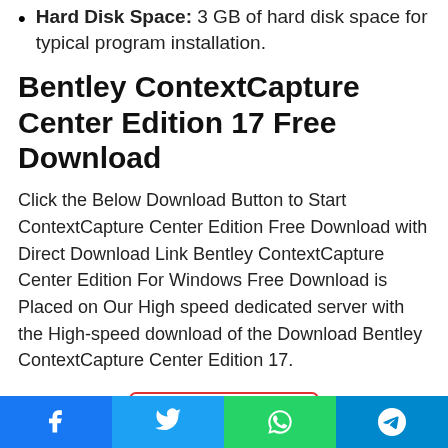Hard Disk Space: 3 GB of hard disk space for typical program installation.
Bentley ContextCapture Center Edition 17 Free Download
Click the Below Download Button to Start ContextCapture Center Edition Free Download with Direct Download Link Bentley ContextCapture Center Edition For Windows Free Download is Placed on Our High speed dedicated server with the High-speed download of the Download Bentley ContextCapture Center Edition 17.